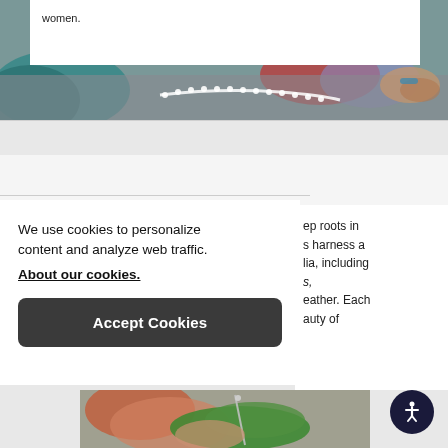women.
[Figure (photo): Close-up photo of hands with pearl necklaces and colorful fabrics on a stone surface]
We use cookies to personalize content and analyze web traffic. About our cookies.
Accept Cookies
ep roots in
s harness a
lia, including
s,
eather. Each
auty of
[Figure (photo): Blurred photo of a person's hands working with green thread or fiber and a needle]